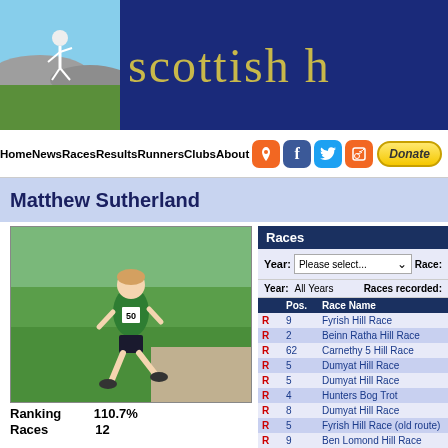scottish h
Home News Races Results Runners Clubs About Donate
Matthew Sutherland
[Figure (photo): Runner wearing green vest and number 50, racing on a path with grass in background]
Ranking 110.7%
Races 12
[Figure (logo): Power of Ten logo - red 10 with white chevrons on black background, text 'power of ten']
|  | Pos. | Race Name |
| --- | --- | --- |
| R | 9 | Fyrish Hill Race |
| R | 2 | Beinn Ratha Hill Race |
| R | 62 | Carnethy 5 Hill Race |
| R | 5 | Dumyat Hill Race |
| R | 5 | Dumyat Hill Race |
| R | 4 | Hunters Bog Trot |
| R | 8 | Dumyat Hill Race |
| R | 5 | Fyrish Hill Race (old route) |
| R | 9 | Ben Lomond Hill Race |
| R | 15 | Dumyat Hill Race |
| R | 10 | Hunters Bog Trot |
| R | 21 | Dumyat Hill Race |